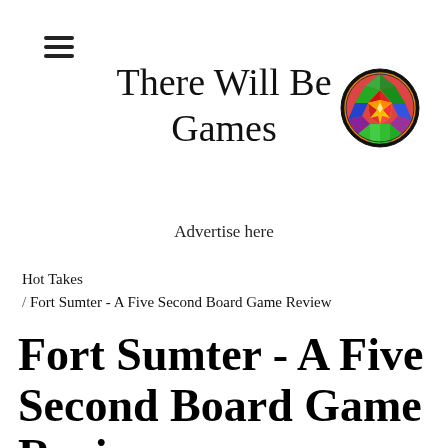≡
There Will Be Games
[Figure (logo): Circular logo with colorful geometric stained-glass pattern in rainbow colors on a dark border]
Advertise here
Hot Takes / Fort Sumter - A Five Second Board Game Review
Fort Sumter - A Five Second Board Game Review